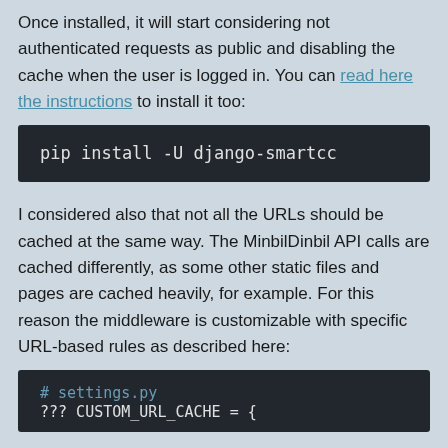Once installed, it will start considering not authenticated requests as public and disabling the cache when the user is logged in. You can read here the instructions to install it too:
pip install -U django-smartcc
I considered also that not all the URLs should be cached at the same way. The MinbilDinbil API calls are cached differently, as some other static files and pages are cached heavily, for example. For this reason the middleware is customizable with specific URL-based rules as described here:
# settings.py
??? CUSTOM_URL_CACHE = {